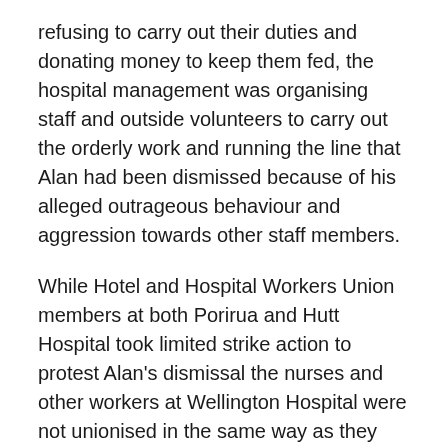refusing to carry out their duties and donating money to keep them fed, the hospital management was organising staff and outside volunteers to carry out the orderly work and running the line that Alan had been dismissed because of his alleged outrageous behaviour and aggression towards other staff members.
While Hotel and Hospital Workers Union members at both Porirua and Hutt Hospital took limited strike action to protest Alan's dismissal the nurses and other workers at Wellington Hospital were not unionised in the same way as they are now and there was little support. The union was looking for other options to get Alan and the orderlies back to work.
The then Minister of Labour, Stan Rodger, was approached by the union and after much negotiation